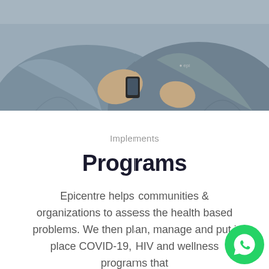[Figure (photo): Two people wearing grey Epicentre-branded medical/work jackets sitting together, one holding a mobile phone]
Implements
Programs
Epicentre helps communities & organizations to assess the health based problems. We then plan, manage and put in place COVID-19, HIV and wellness